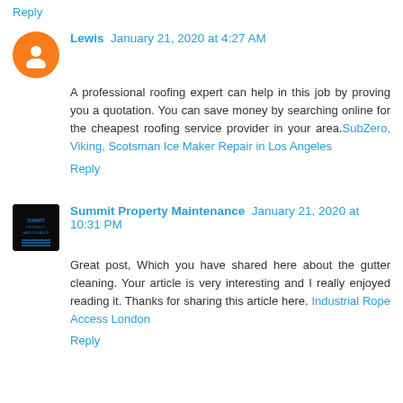Reply
Lewis January 21, 2020 at 4:27 AM
A professional roofing expert can help in this job by proving you a quotation. You can save money by searching online for the cheapest roofing service provider in your area.SubZero, Viking, Scotsman Ice Maker Repair in Los Angeles
Reply
Summit Property Maintenance January 21, 2020 at 10:31 PM
Great post, Which you have shared here about the gutter cleaning. Your article is very interesting and I really enjoyed reading it. Thanks for sharing this article here. Industrial Rope Access London
Reply